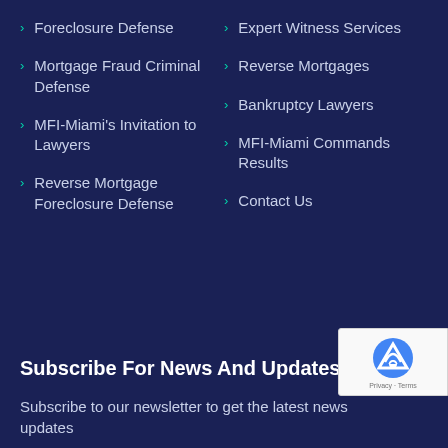Foreclosure Defense
Mortgage Fraud Criminal Defense
MFI-Miami's Invitation to Lawyers
Reverse Mortgage Foreclosure Defense
Expert Witness Services
Reverse Mortgages
Bankruptcy Lawyers
MFI-Miami Commands Results
Contact Us
Subscribe For News And Updates
Subscribe to our newsletter to get the latest news updates